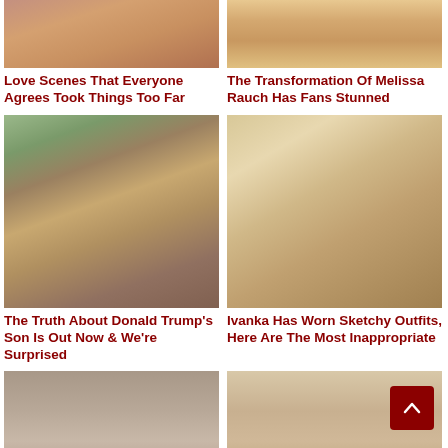[Figure (photo): Cropped close-up photo, top row left - partial face/shoulder from a love scene]
[Figure (photo): Cropped close-up photo, top row right - partial view of Melissa Rauch with blonde hair]
Love Scenes That Everyone Agrees Took Things Too Far
The Transformation Of Melissa Rauch Has Fans Stunned
[Figure (photo): Photo of a young boy, Barron Trump, with brown hair wearing a suit]
[Figure (photo): Photo of Ivanka Trump smiling with long blonde hair]
The Truth About Donald Trump's Son Is Out Now & We're Surprised
Ivanka Has Worn Sketchy Outfits, Here Are The Most Inappropriate
[Figure (photo): Partial photo of a dark-haired man, bottom row left]
[Figure (photo): Partial photo of a blonde woman, bottom row right]
[Figure (other): Red scroll-to-top button with upward chevron arrow, bottom right corner]